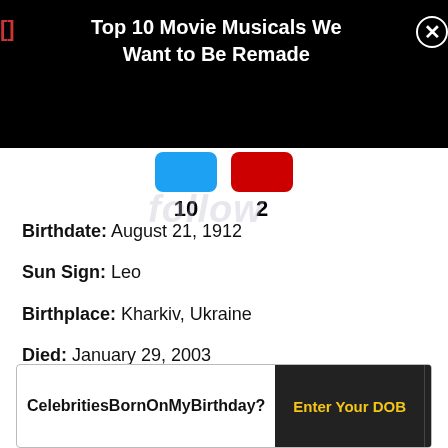Top 10 Movie Musicals We Want to Be Remade
10   2
Birthdate: August 21, 1912
Sun Sign: Leo
Birthplace: Kharkiv, Ukraine
Died: January 29, 2003
Natalia Dudinskaya was a Russian ballet dancer who dominated the Imperial Russian Ballet between the 1930s and the 1950s. Dudinskaya, who
Celebrities Born On My Birthday? | Enter Your DOB | GO